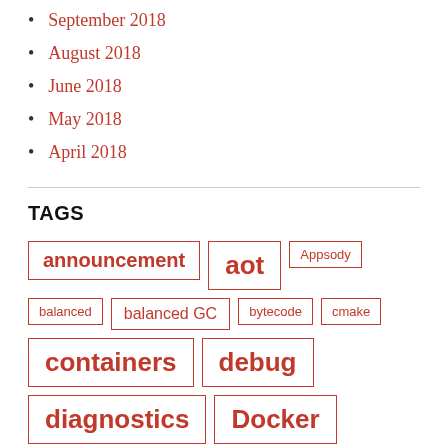September 2018
August 2018
June 2018
May 2018
April 2018
TAGS
announcement  aot  Appsody  balanced  balanced GC  bytecode  cmake  containers  debug  diagnostics  Docker  footprint